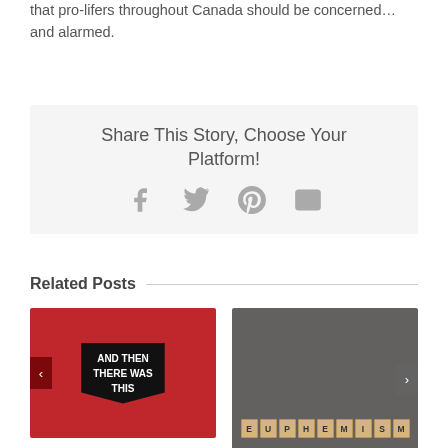that pro-lifers throughout Canada should be concerned…and alarmed.
Share This Story, Choose Your Platform!
[Figure (infographic): Social sharing icons: Facebook (f), Twitter (bird), Pinterest (P), Email (envelope)]
Related Posts
[Figure (photo): Red background with black speech bubble containing white bold text: AND THEN THERE WAS THIS]
[Figure (photo): Gray background with Scrabble tiles spelling EUPHEMISM]